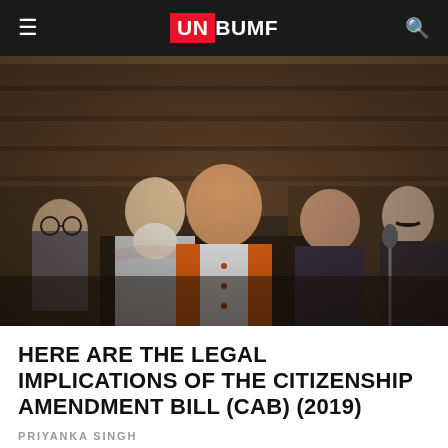UNBUMF
[Figure (photo): A man in an orange vest speaking in what appears to be the Indian Parliament (Lok Sabha), with other MPs seated behind him.]
HERE ARE THE LEGAL IMPLICATIONS OF THE CITIZENSHIP AMENDMENT BILL (CAB) (2019)
PRIYANKA SINGH